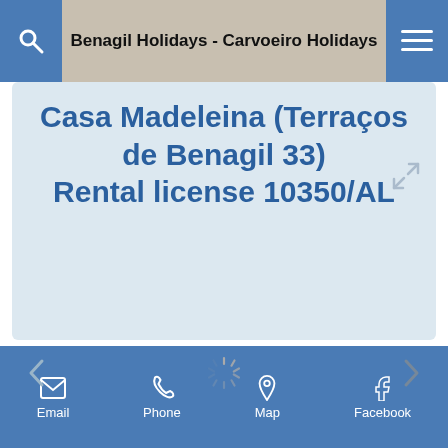Benagil Holidays - Carvoeiro Holidays
Casa Madeleina (Terraços de Benagil 33) Rental license 10350/AL
[Figure (screenshot): Loading spinner and navigation arrows on a light blue image slider area]
Email  Phone  Map  Facebook